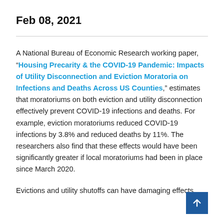Feb 08, 2021
A National Bureau of Economic Research working paper, “Housing Precarity & the COVID-19 Pandemic: Impacts of Utility Disconnection and Eviction Moratoria on Infections and Deaths Across US Counties,” estimates that moratoriums on both eviction and utility disconnection effectively prevent COVID-19 infections and deaths. For example, eviction moratoriums reduced COVID-19 infections by 3.8% and reduced deaths by 11%. The researchers also find that these effects would have been significantly greater if local moratoriums had been in place since March 2020.
Evictions and utility shutoffs can have damaging effects on public health, and they disproportionately impact low-income